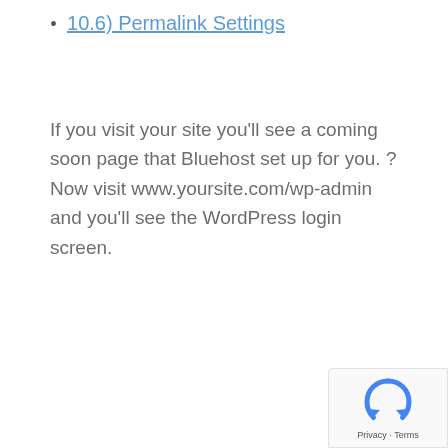10.6) Permalink Settings
If you visit your site you'll see a coming soon page that Bluehost set up for you. ?Now visit www.yoursite.com/wp-admin and you'll see the WordPress login screen.
[Figure (logo): reCAPTCHA badge with Google logo and Privacy · Terms text]